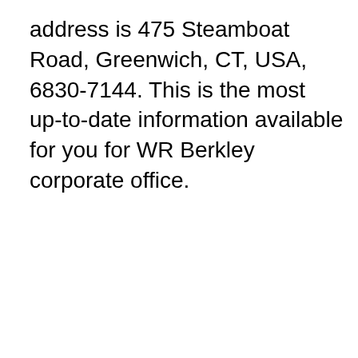address is 475 Steamboat Road, Greenwich, CT, USA, 6830-7144. This is the most up-to-date information available for you for WR Berkley corporate office.